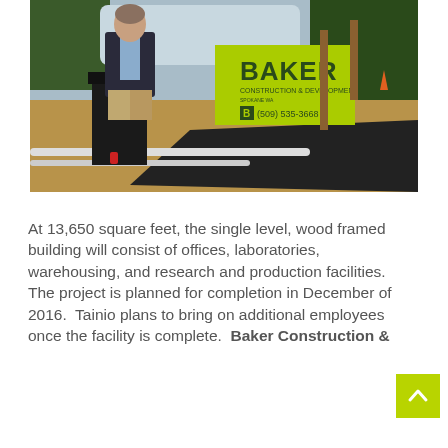[Figure (photo): A man in a dark blazer stands at a podium at a construction site. Behind him is a green Baker Construction & Development sign showing the phone number (509) 535-3668. Trees and construction equipment visible in background.]
At 13,650 square feet, the single level, wood framed building will consist of offices, laboratories, warehousing, and research and production facilities.  The project is planned for completion in December of 2016.  Tainio plans to bring on additional employees once the facility is complete.  Baker Construction &